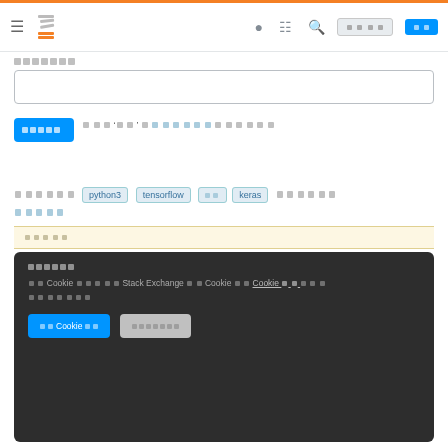Stack Overflow navigation bar with logo, icons, login and signup buttons
[redacted placeholder text] search label
[Figure (screenshot): Search input text box]
[redacted] question text with link
[redacted tags] python3 tensorflow [redacted] keras [redacted]
[redacted] notice box
Cookie banner: [redacted title] Cookie [redacted] Stack Exchange [redacted] Cookie [redacted] Cookie [redacted] buttons: Accept Cookie [redacted] / [redacted settings]